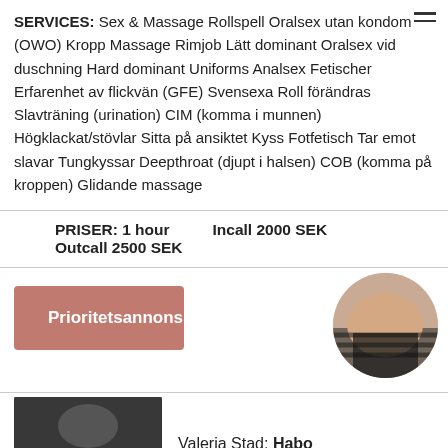SERVICES: Sex & Massage Rollspell Oralsex utan kondom (OWO) Kropp Massage Rimjob Lätt dominant Oralsex vid duschning Hard dominant Uniforms Analsex Fetischer Erfarenhet av flickvän (GFE) Svensexa Roll förändras Slavträning (urination) CIM (komma i munnen) Högklackat/stövlar Sitta på ansiktet Kyss Fotfetisch Tar emot slavar Tungkyssar Deepthroat (djupt i halsen) COB (komma på kroppen) Glidande massage
PRISER: 1 hour Incall 2000 SEK Outcall 2500 SEK
Prioritetsannons
[Figure (photo): Circular cropped photo showing a person's torso]
[Figure (photo): Small thumbnail photo, dark toned]
Valeria Stad: Habo